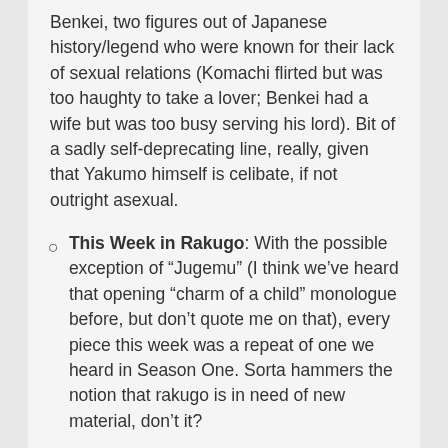Benkei, two figures out of Japanese history/legend who were known for their lack of sexual relations (Komachi flirted but was too haughty to take a lover; Benkei had a wife but was too busy serving his lord). Bit of a sadly self-deprecating line, really, given that Yakumo himself is celibate, if not outright asexual.
This Week in Rakugo: With the possible exception of “Jugemu” (I think we’ve heard that opening “charm of a child” monologue before, but don’t quote me on that), every piece this week was a repeat of one we heard in Season One. Sorta hammers the notion that rakugo is in need of new material, don’t it?
[Figure (illustration): A stylized illustration of a black bird (chicken/rooster) with a red comb on a mint/teal green background, partially cropped at the bottom of the page.]